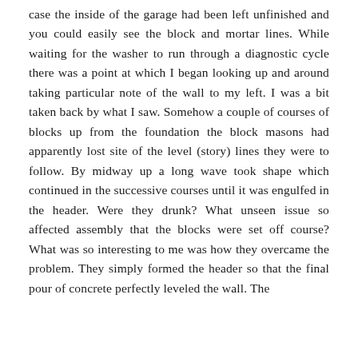case the inside of the garage had been left unfinished and you could easily see the block and mortar lines. While waiting for the washer to run through a diagnostic cycle there was a point at which I began looking up and around taking particular note of the wall to my left. I was a bit taken back by what I saw. Somehow a couple of courses of blocks up from the foundation the block masons had apparently lost site of the level (story) lines they were to follow. By midway up a long wave took shape which continued in the successive courses until it was engulfed in the header. Were they drunk? What unseen issue so affected assembly that the blocks were set off course? What was so interesting to me was how they overcame the problem. They simply formed the header so that the final pour of concrete perfectly leveled the wall. The